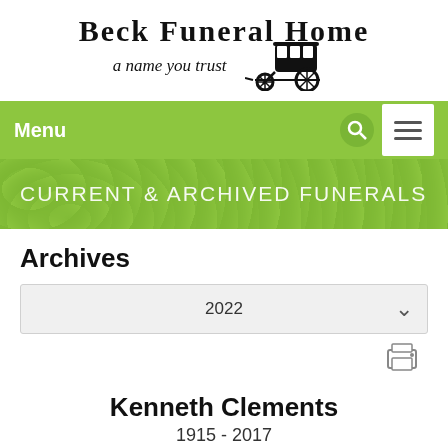[Figure (logo): Beck Funeral Home logo with text 'Beck Funeral Home' and tagline 'a name you trust' alongside a vintage horse-drawn carriage silhouette illustration]
Menu
CURRENT & ARCHIVED FUNERALS
Archives
2022
Kenneth Clements
1915 - 2017